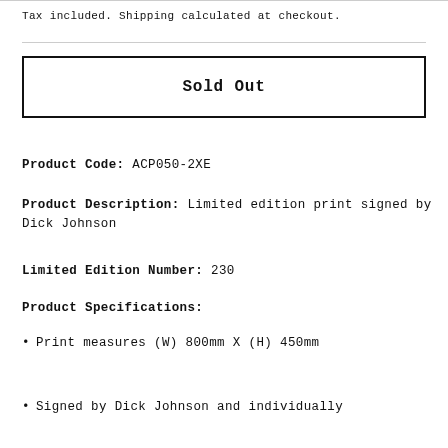Tax included. Shipping calculated at checkout.
Sold Out
Product Code: ACP050-2XE
Product Description: Limited edition print signed by Dick Johnson
Limited Edition Number: 230
Product Specifications:
Print measures (W) 800mm X (H) 450mm
Signed by Dick Johnson and individually